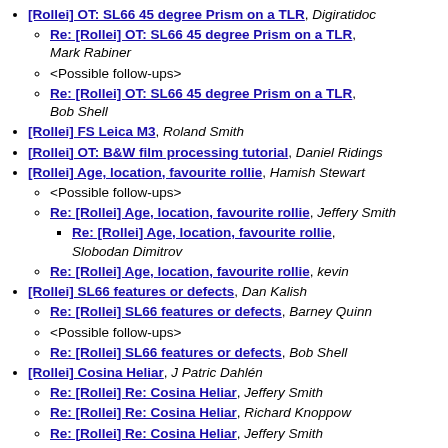[Rollei] OT: SL66 45 degree Prism on a TLR, Digiratidoc
Re: [Rollei] OT: SL66 45 degree Prism on a TLR, Mark Rabiner
<Possible follow-ups>
Re: [Rollei] OT: SL66 45 degree Prism on a TLR, Bob Shell
[Rollei] FS Leica M3, Roland Smith
[Rollei] OT: B&W film processing tutorial, Daniel Ridings
[Rollei] Age, location, favourite rollie, Hamish Stewart
<Possible follow-ups>
Re: [Rollei] Age, location, favourite rollie, Jeffery Smith
Re: [Rollei] Age, location, favourite rollie, Slobodan Dimitrov
Re: [Rollei] Age, location, favourite rollie, kevin
[Rollei] SL66 features or defects, Dan Kalish
Re: [Rollei] SL66 features or defects, Barney Quinn
<Possible follow-ups>
Re: [Rollei] SL66 features or defects, Bob Shell
[Rollei] Cosina Heliar, J Patric Dahlén
Re: [Rollei] Re: Cosina Heliar, Jeffery Smith
Re: [Rollei] Re: Cosina Heliar, Richard Knoppow
Re: [Rollei] Re: Cosina Heliar, Jeffery Smith
<Possible follow-ups>
Re: [Rollei] Re: Cosina Heliar, Daniel Ridings